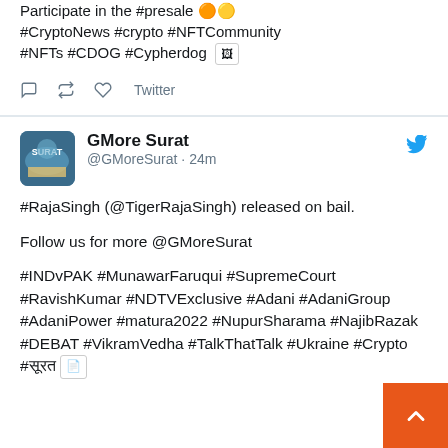Participate in the #presale 🟠🟡 #CryptoNews #crypto #NFTCommunity #NFTs #CDOG #Cypherdog [image icon]
Twitter
GMore Surat @GMoreSurat · 24m
#RajaSingh (@TigerRajaSingh) released on bail.

Follow us for more @GMoreSurat

#INDvPAK #MunawarFaruqui #SupremeCourt #RavishKumar #NDTVExclusive #Adani #AdaniGroup #AdaniPower #matura2022 #NupurSharama #NajibRazak #DEBAT #VikramVedha #TalkThatTalk #Ukraine #Crypto #सूरत [file icon]